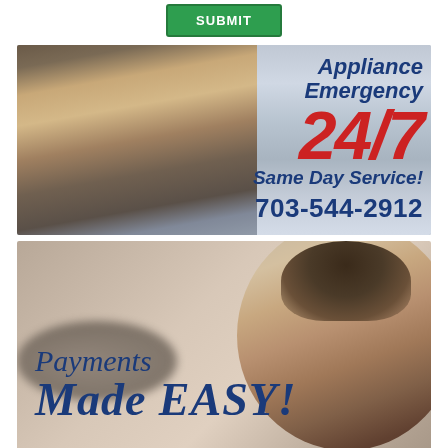[Figure (other): Green SUBMIT button at top of page]
[Figure (photo): Banner ad showing a male technician working on HVAC/appliance ductwork with text: 'Appliance Emergency 24/7 Same Day Service! 703-544-2912' on a blue/gray background]
[Figure (photo): Banner ad showing a smiling young woman on right side with blurred appliance on left and text: 'Payments Made EASY!' in italic blue font on a warm beige background]